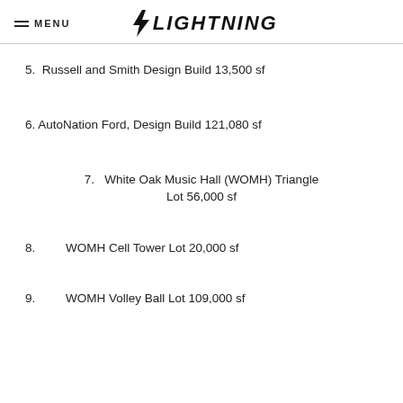MENU | LIGHTNING
5.  Russell and Smith Design Build 13,500 sf
6. AutoNation Ford, Design Build 121,080 sf
7.   White Oak Music Hall (WOMH) Triangle Lot 56,000 sf
8.        WOMH Cell Tower Lot 20,000 sf
9.        WOMH Volley Ball Lot 109,000 sf